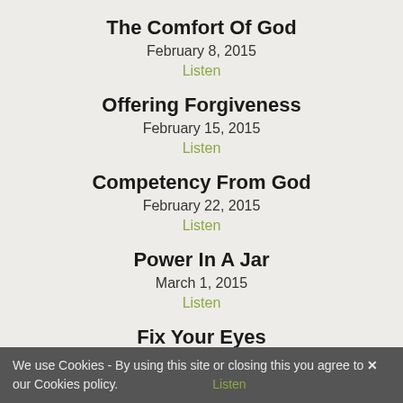The Comfort Of God
February 8, 2015
Listen
Offering Forgiveness
February 15, 2015
Listen
Competency From God
February 22, 2015
Listen
Power In A Jar
March 1, 2015
Listen
Fix Your Eyes
March 8, 2015
Listen
We use Cookies - By using this site or closing this you agree to our Cookies policy.